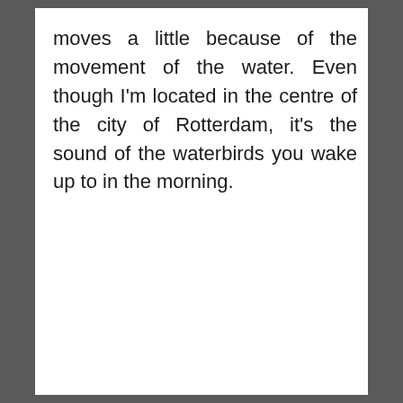moves a little because of the movement of the water. Even though I'm located in the centre of the city of Rotterdam, it's the sound of the waterbirds you wake up to in the morning.